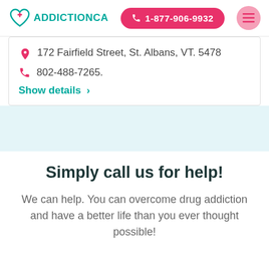ADDICTIONCA  1-877-906-9932
172 Fairfield Street, St. Albans, VT. 5478
802-488-7265.
Show details >
Simply call us for help!
We can help. You can overcome drug addiction and have a better life than you ever thought possible!